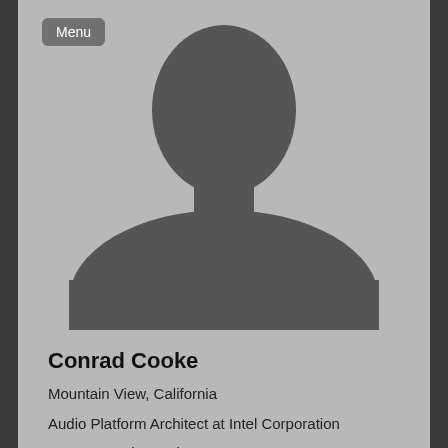[Figure (illustration): Generic silhouette placeholder profile photo of a person (head and shoulders) on a grey background]
Conrad Cooke
Mountain View, California
Audio Platform Architect at Intel Corporation
Consumer Electronics